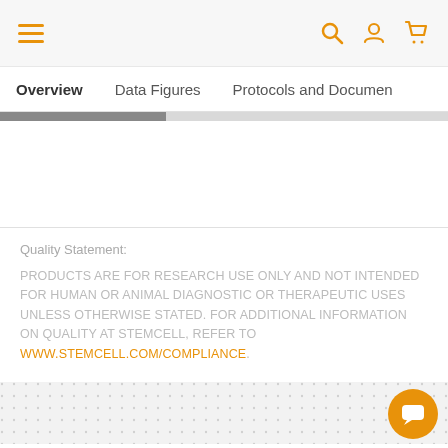Navigation bar with hamburger menu, search, account, and cart icons
Overview | Data Figures | Protocols and Documents
Quality Statement:

PRODUCTS ARE FOR RESEARCH USE ONLY AND NOT INTENDED FOR HUMAN OR ANIMAL DIAGNOSTIC OR THERAPEUTIC USES UNLESS OTHERWISE STATED. FOR ADDITIONAL INFORMATION ON QUALITY AT STEMCELL, REFER TO WWW.STEMCELL.COM/COMPLIANCE.
Scientists Helping Scientists™